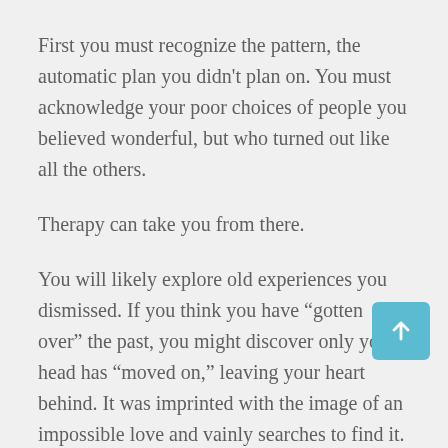First you must recognize the pattern, the automatic plan you didn’t plan on. You must acknowledge your poor choices of people you believed wonderful, but who turned out like all the others.
Therapy can take you from there.
You will likely explore old experiences you dismissed. If you think you have “gotten over” the past, you might discover only your head has “moved on,” leaving your heart behind. It was imprinted with the image of an impossible love and vainly searches to find it.
This problem withstands purely intellectual